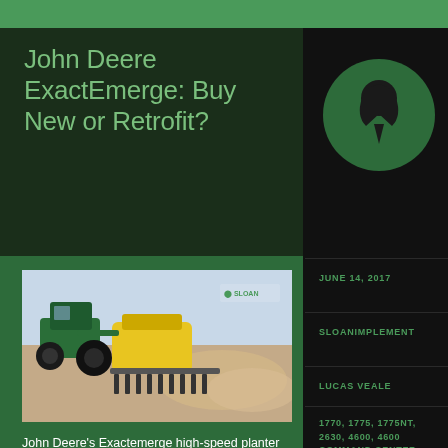John Deere ExactEmerge: Buy New or Retrofit?
[Figure (photo): John Deere tractor pulling an ExactEmerge high-speed planter in a dusty field, with Sloan logo visible in upper right corner of the photo]
John Deere's Exactemerge high-speed planter has definitely changed the game. With improved seed spacing over conventional planters even at speeds of 10+ mph, unmatched productivity and
JUNE 14, 2017
SLOANIMPLEMENT
LUCAS VEALE
1770, 1775, 1775NT, 2630, 4600, 4600 COMMAND CENTER, EXACTEMERGE,